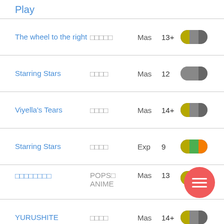Play
The wheel to the right | □□□□□ | Mas | 13+
Starring Stars | □□□□ | Mas | 12
Viyella's Tears | □□□□ | Mas | 14+
Starring Stars | □□□□ | Exp | 9
□□□□□□□□ | POPS□ ANIME | Mas | 13
YURUSHITE | □□□□ | Mas | 14+
□□□□□□□□ | picopico | Exp | 10+